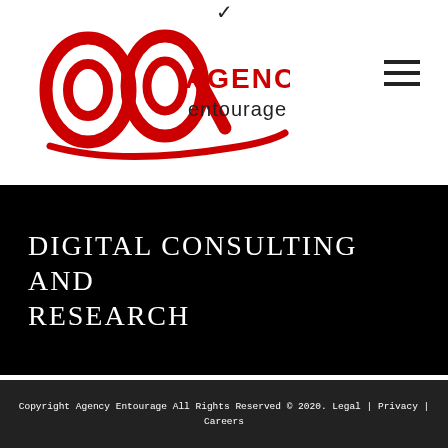[Figure (logo): Agency Entourage logo — red stylized 'aq' letters with red swoosh underline, 'AGENCY entourage' text in black/red]
DIGITAL CONSULTING AND RESEARCH
Traditional Marketing and Advertising
Web Application and Development
Meet The Entourage
Blog Archives
Copyright Agency Entourage All Rights Reserved © 2020. Legal | Privacy | Careers